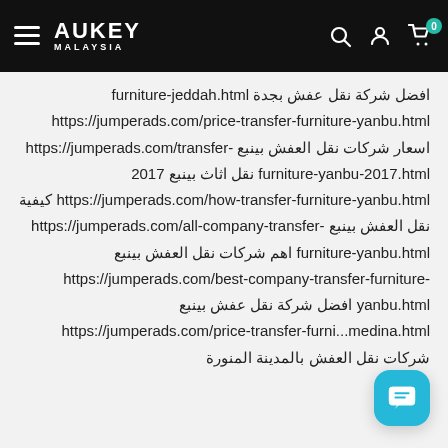AUKEY MALAYSIA — navigation header with hamburger menu, search, account, and cart icons
افضل شركة نقل عفش بجدة furniture-jeddah.html https://jumperads.com/price-transfer-furniture-yanbu.html اسعار شركات نقل العفش بينبع https://jumperads.com/transfer-furniture-yanbu-2017.html نقل اثاث بينبع 2017 https://jumperads.com/how-transfer-furniture-yanbu.html كيفية نقل العفش بينبع https://jumperads.com/all-company-transfer-furniture-yanbu.html اهم شركات نقل العفش بينبع https://jumperads.com/best-company-transfer-furniture-yanbu.html افضل شركة نقل عفش بينبع https://jumperads.com/price-transfer-furni...medina.html شركات نقل العفش بالمدينة المنورة